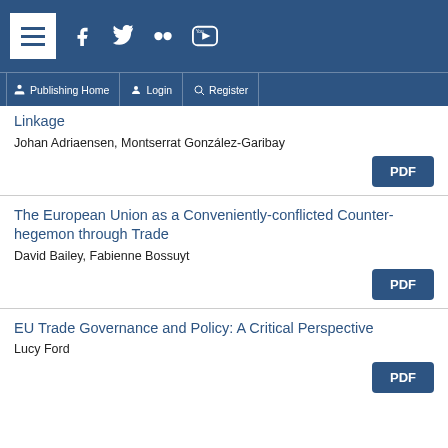Publishing Home | Login | Register
Linkage
Johan Adriaensen, Montserrat González-Garibay
The European Union as a Conveniently-conflicted Counter-hegemon through Trade
David Bailey, Fabienne Bossuyt
EU Trade Governance and Policy: A Critical Perspective
Lucy Ford